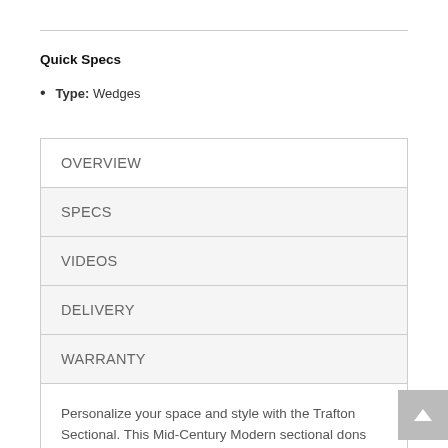Quick Specs
Type: Wedges
| OVERVIEW |
| SPECS |
| VIDEOS |
| DELIVERY |
| WARRANTY |
Personalize your space and style with the Trafton Sectional. This Mid-Century Modern sectional dons sleek track arms featuring convenient USB ports on each end, perfect